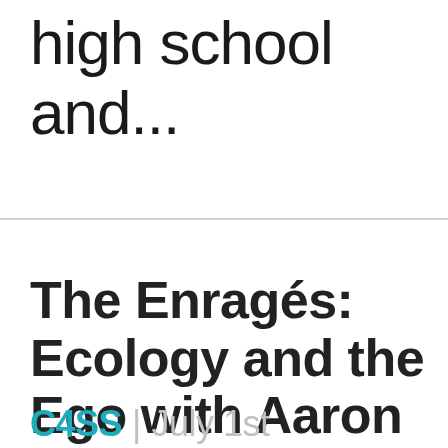the punk scene in high school and...
The Enragés: Ecology and the Ego with Aaron Koek
C4SS | July 1st